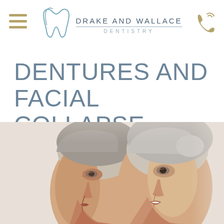Drake and Wallace Dentistry
DENTURES AND FACIAL COLLAPSE
[Figure (photo): Before and after comparison photo showing two women's faces in profile view, illustrating facial collapse with dentures versus improved facial structure]